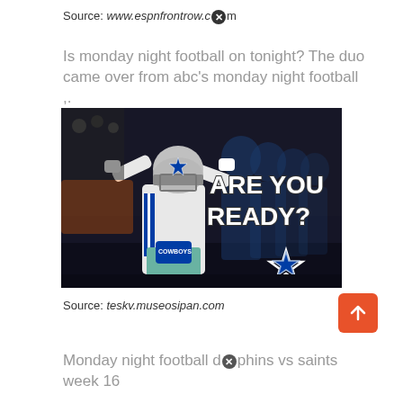Source: www.espnfrontrow.com
Is monday night football on tonight? The duo came over from abc's monday night football ,.
[Figure (photo): Dallas Cowboys football player dabbing, with repeated ghost images behind him and the Dallas Cowboys star logo, overlaid with 'ARE YOU READY?' text in large white block letters on a dark background.]
Source: teskv.museosipan.com
Monday night football dolphins vs saints week 16